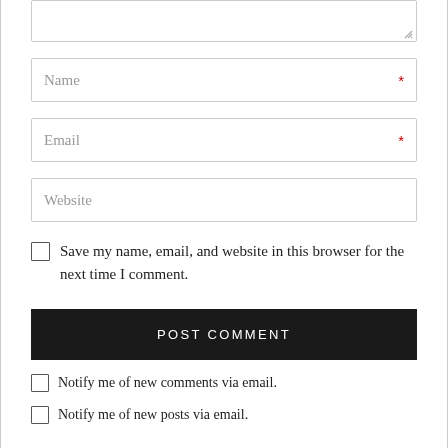[Figure (screenshot): Partial textarea input field at top of page]
Name *
Email *
Website
Save my name, email, and website in this browser for the next time I comment.
POST COMMENT
Notify me of new comments via email.
Notify me of new posts via email.